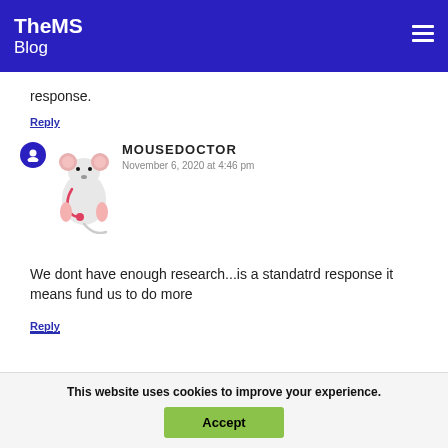TheMS Blog
response.
Reply
MOUSEDOCTOR
November 6, 2020 at 4:46 pm
We dont have enough research...is a standatrd response it means fund us to do more
Reply
This website uses cookies to improve your experience.
Accept